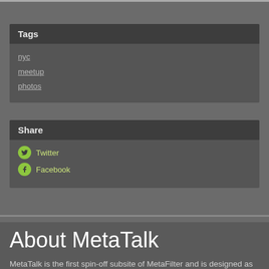Tags
nyc
meetup
photos
Share
Twitter
Facebook
About MetaTalk
MetaTalk is the first spin-off subsite of MetaFilter and is designed as a space to talk about MetaFilter itself. MetaTalk is the place to discuss features, bugs, and issues of policy